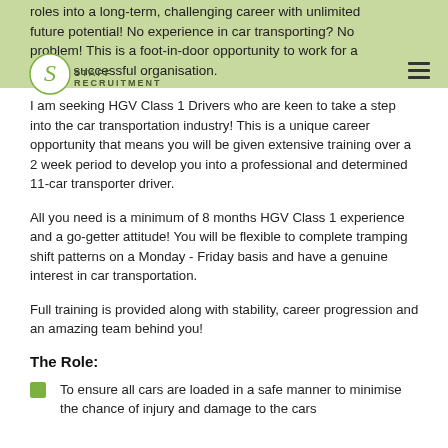roles into a long-term, challenging career with unlimited future potential! No experience in car transporting? No problem! This is a foot-in-door opportunity to work for a hugely successful organisation.
I am seeking HGV Class 1 Drivers who are keen to take a step into the car transportation industry! This is a unique career opportunity that means you will be given extensive training over a 2 week period to develop you into a professional and determined 11-car transporter driver.
All you need is a minimum of 8 months HGV Class 1 experience and a go-getter attitude! You will be flexible to complete tramping shift patterns on a Monday - Friday basis and have a genuine interest in car transportation.
Full training is provided along with stability, career progression and an amazing team behind you!
The Role:
To ensure all cars are loaded in a safe manner to minimise the chance of injury and damage to the cars